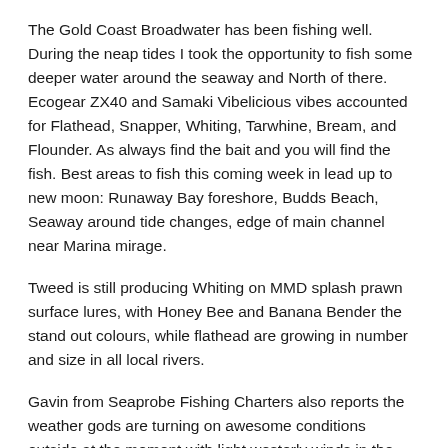The Gold Coast Broadwater has been fishing well. During the neap tides I took the opportunity to fish some deeper water around the seaway and North of there. Ecogear ZX40 and Samaki Vibelicious vibes accounted for Flathead, Snapper, Whiting, Tarwhine, Bream, and Flounder. As always find the bait and you will find the fish. Best areas to fish this coming week in lead up to new moon: Runaway Bay foreshore, Budds Beach, Seaway around tide changes, edge of main channel near Marina mirage.
Tweed is still producing Whiting on MMD splash prawn surface lures, with Honey Bee and Banana Bender the stand out colours, while flathead are growing in number and size in all local rivers.
Gavin from Seaprobe Fishing Charters also reports the weather gods are turning on awesome conditions outside at the moment with light westerly winds in the mornings, try the 50 fathom line at the moment with no current and a real good mixed bag of fish out there. Snapper, Pearlies, Amberjack, Pig Fish and Silver Jew just using squid, pillies and live bait. Also try the fads on the 36s for feed of Mahi Mahi.
Hope you all have a good week and stay healthy and safe, if you have